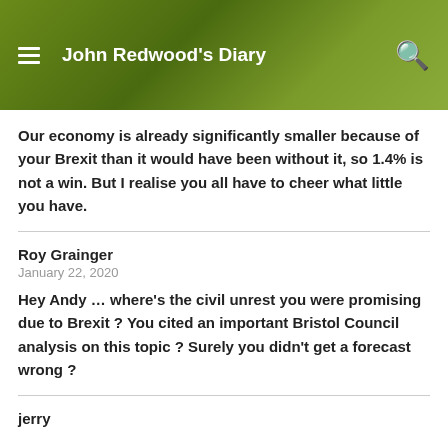John Redwood's Diary
Our economy is already significantly smaller because of your Brexit than it would have been without it, so 1.4% is not a win. But I realise you all have to cheer what little you have.
Roy Grainger
January 22, 2020
Hey Andy … where's the civil unrest you were promising due to Brexit ? You cited an important Bristol Council analysis on this topic ? Surely you didn't get a forecast wrong ?
jerry